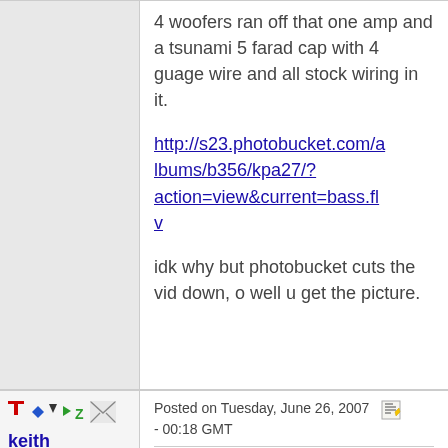4 woofers ran off that one amp and a tsunami 5 farad cap with 4 guage wire and all stock wiring in it.
http://s23.photobucket.com/albums/b356/kpa27/?action=view&current=bass.flv
idk why but photobucket cuts the vid down, o well u get the picture.
Posted on Tuesday, June 26, 2007 - 00:18 GMT
keith
Silver Member
Username: Kpa2727
i red did the video on another site since photobucket has some mental issues to work